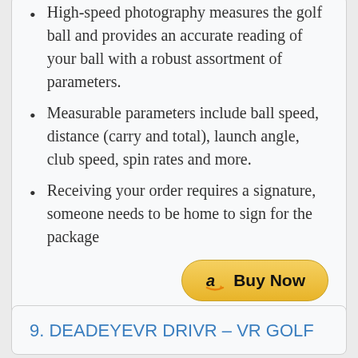High-speed photography measures the golf ball and provides an accurate reading of your ball with a robust assortment of parameters.
Measurable parameters include ball speed, distance (carry and total), launch angle, club speed, spin rates and more.
Receiving your order requires a signature, someone needs to be home to sign for the package
9. DEADEYEVR DRIVR – VR GOLF